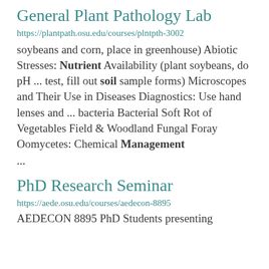General Plant Pathology Lab
https://plantpath.osu.edu/courses/plntpth-3002
soybeans and corn, place in greenhouse) Abiotic Stresses: Nutrient Availability (plant soybeans, do pH ... test, fill out soil sample forms) Microscopes and Their Use in Diseases Diagnostics: Use hand lenses and ... bacteria Bacterial Soft Rot of Vegetables Field & Woodland Fungal Foray Oomycetes: Chemical Management
...
PhD Research Seminar
https://aede.osu.edu/courses/aedecon-8895
AEDECON 8895 PhD Students presenting